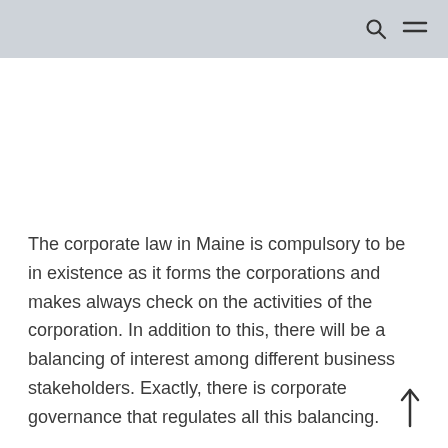The corporate law in Maine is compulsory to be in existence as it forms the corporations and makes always check on the activities of the corporation. In addition to this, there will be a balancing of interest among different business stakeholders. Exactly, there is corporate governance that regulates all this balancing.